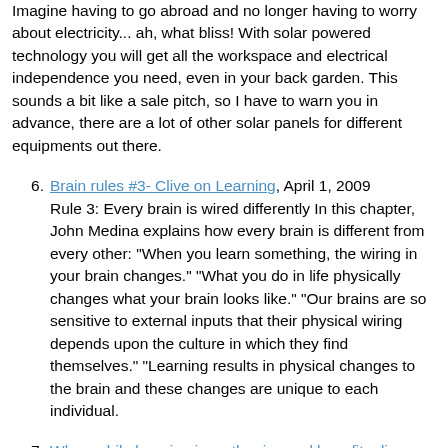Imagine having to go abroad and no longer having to worry about electricity... ah, what bliss! With solar powered technology you will get all the workspace and electrical independence you need, even in your back garden. This sounds a bit like a sale pitch, so I have to warn you in advance, there are a lot of other solar panels for different equipments out there.
Brain rules #3- Clive on Learning, April 1, 2009
Rule 3: Every brain is wired differently In this chapter, John Medina explains how every brain is different from every other: "When you learn something, the wiring in your brain changes." "What you do in life physically changes what your brain looks like." "Our brains are so sensitive to external inputs that their physical wiring depends upon the culture in which they find themselves." "Learning results in physical changes to the brain and these changes are unique to each individual.
Why mobile learning is on the rise and benefits diverse populations- Ignatia Webs, April 3, 2009